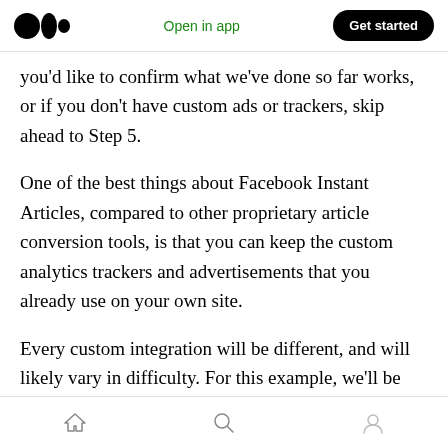Medium logo | Open in app | Get started
you'd like to confirm what we've done so far works, or if you don't have custom ads or trackers, skip ahead to Step 5.
One of the best things about Facebook Instant Articles, compared to other proprietary article conversion tools, is that you can keep the custom analytics trackers and advertisements that you already use on your own site.
Every custom integration will be different, and will likely vary in difficulty. For this example, we'll be using ChartBeat, a traffic analytics and
Home | Search | Profile